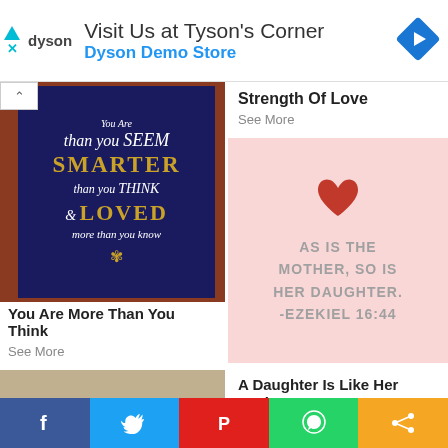[Figure (screenshot): Dyson advertisement banner: dyson logo, 'Visit Us at Tyson's Corner', 'Dyson Demo Store', blue diamond arrow icon]
[Figure (photo): Dark blue wooden sign with gold and white text: 'You Are More Than You SEEM SMARTER than you THINK & LOVED more than you know' on a dark red/orange background]
You Are More Than You Think
See More
Strength Of Love
See More
[Figure (illustration): Pink background card with red heart and text: 'AS IS THE MOTHER, SO IS HER DAUGHTER. -EZEKIEL 16:44']
A Daughter Is Like Her Mother
See More
[Figure (screenshot): Social sharing bar with Facebook, Twitter, Pinterest, WhatsApp, and Share buttons]